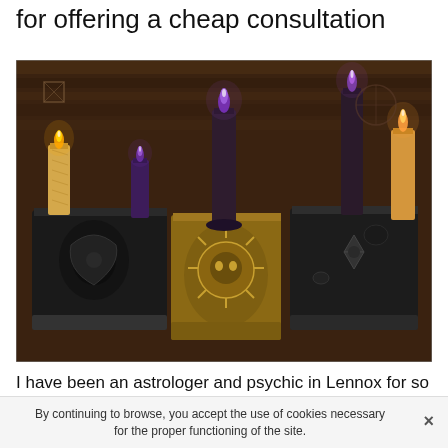for offering a cheap consultation
[Figure (photo): Three ornate decorative books with embossed covers arranged on a wooden surface, surrounded by lit candles — black, orange, and purple — in a dark mystical setting.]
I have been an astrologer and psychic in Lennox for so long that I have been able to get a very good reputation as you can see from the few reviews of my psychic.
By continuing to browse, you accept the use of cookies necessary for the proper functioning of the site.